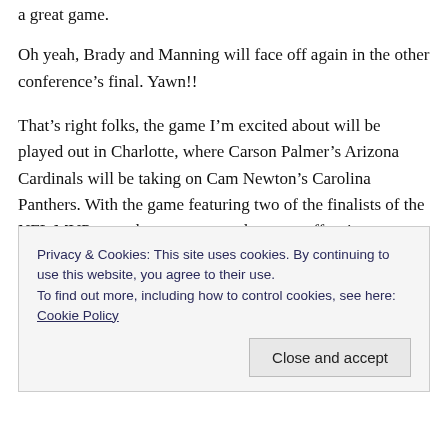a great game.
Oh yeah, Brady and Manning will face off again in the other conference's final. Yawn!!
That's right folks, the game I'm excited about will be played out in Charlotte, where Carson Palmer's Arizona Cardinals will be taking on Cam Newton's Carolina Panthers. With the game featuring two of the finalists of the NFL MVP race, there are sure to be some offensive fireworks.
But the QBs aren't the only highly anticipated part of this
Privacy & Cookies: This site uses cookies. By continuing to use this website, you agree to their use.
To find out more, including how to control cookies, see here: Cookie Policy
Close and accept